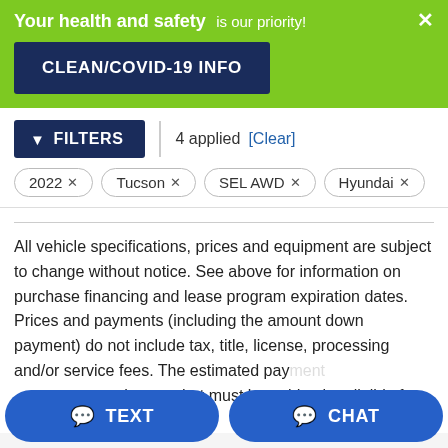Your health and safety is our priority!
CLEAN/COVID-19 INFO
FILTERS | 4 applied [Clear]
2022 ×
Tucson ×
SEL AWD ×
Hyundai ×
All vehicle specifications, prices and equipment are subject to change without notice. See above for information on purchase financing and lease program expiration dates. Prices and payments (including the amount down payment) do not include tax, title, license, processing and/or service fees. The estimated pay... charges that must be paid to be eligible for the purchase financing
TEXT
CHAT